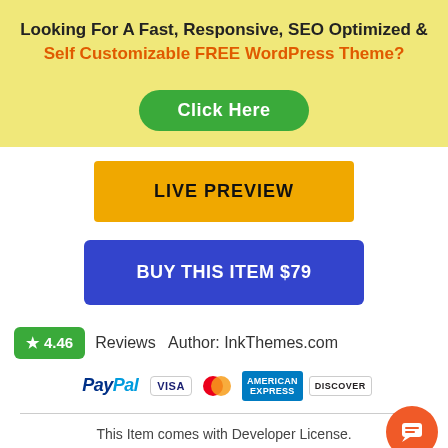Looking For A Fast, Responsive, SEO Optimized & Self Customizable FREE WordPress Theme?
[Figure (other): Green 'Click Here' button]
[Figure (other): Yellow 'LIVE PREVIEW' button]
[Figure (other): Blue 'BUY THIS ITEM $79' button]
★ 4.46   Reviews   Author: InkThemes.com
[Figure (other): Payment logos: PayPal, VISA, MasterCard, American Express, Discover]
This Item comes with Developer License. (You can use this item for multiple purposes)